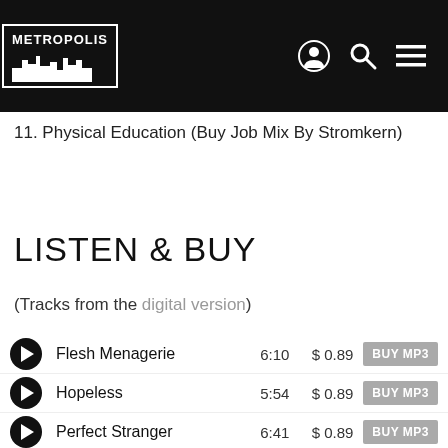METROPOLIS (logo/navbar)
11. Physical Education (Buy Job Mix By Stromkern)
LISTEN & BUY
(Tracks from the digital version)
Flesh Menagerie  6:10  $ 0.89  BUY MP3
Hopeless  5:54  $ 0.89  BUY MP3
Perfect Stranger  6:41  $ 0.89  BUY MP3
Physical Education  6:14  $ 0.89  BUY MP3